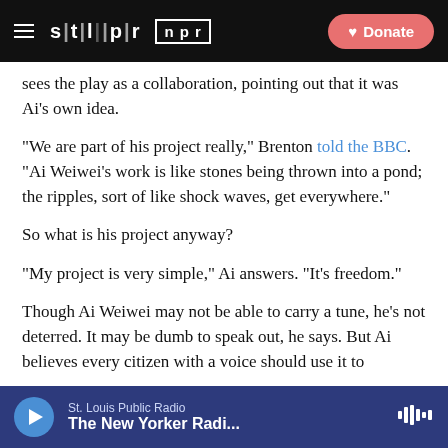STLPR NPR [Donate button]
sees the play as a collaboration, pointing out that it was Ai's own idea.
"We are part of his project really," Brenton told the BBC. "Ai Weiwei's work is like stones being thrown into a pond; the ripples, sort of like shock waves, get everywhere."
So what is his project anyway?
"My project is very simple," Ai answers. "It's freedom."
Though Ai Weiwei may not be able to carry a tune, he's not deterred. It may be dumb to speak out, he says. But Ai believes every citizen with a voice should use it to
St. Louis Public Radio | The New Yorker Radi...